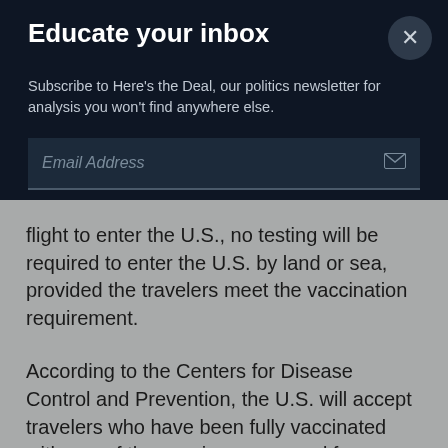Educate your inbox
Subscribe to Here's the Deal, our politics newsletter for analysis you won't find anywhere else.
Email Address
flight to enter the U.S., no testing will be required to enter the U.S. by land or sea, provided the travelers meet the vaccination requirement.
According to the Centers for Disease Control and Prevention, the U.S. will accept travelers who have been fully vaccinated with any of the vaccines approved for emergency use by the World Health Organization, not just those in use